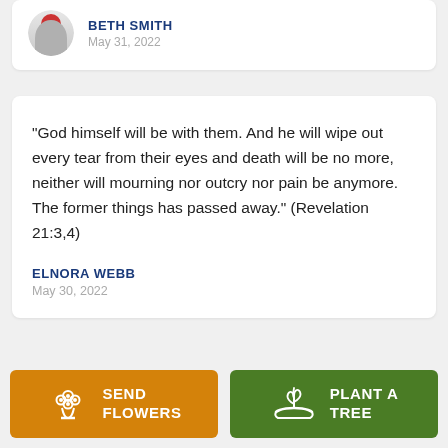BETH SMITH
May 31, 2022
“God himself will be with them. And he will wipe out every tear from their eyes and death will be no more, neither will mourning nor outcry nor pain be anymore. The former things has passed away.” (Revelation 21:3,4)
ELNORA WEBB
May 30, 2022
[Figure (other): Send Flowers button with flower bouquet icon]
[Figure (other): Plant a Tree button with seedling/hand icon]